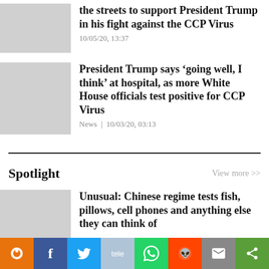the streets to support President Trump in his fight against the CCP Virus
10/05/20, 13:37
President Trump says ‘going well, I think’ at hospital, as more White House officials test positive for CCP Virus
News | 10/03/20, 03:13
Spotlight
View more >>
Unusual: Chinese regime tests fish, pillows, cell phones and anything else they can think of